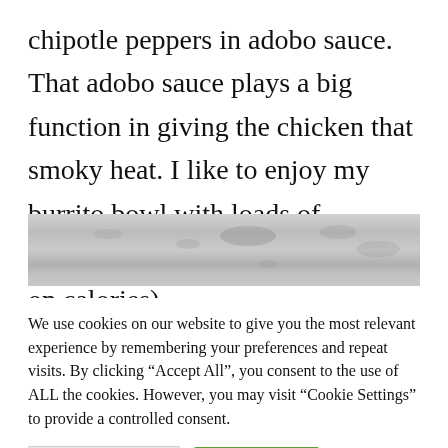chipotle peppers in adobo sauce. That adobo sauce plays a big function in giving the chicken that smoky heat. I like to enjoy my burrito bowl with loads of garnishes and no tortilla (to save on calories).
[Figure (photo): A close-up photo of a light grey/white textured surface, likely a stone or marble surface, cropped to show a narrow horizontal band.]
We use cookies on our website to give you the most relevant experience by remembering your preferences and repeat visits. By clicking “Accept All”, you consent to the use of ALL the cookies. However, you may visit "Cookie Settings" to provide a controlled consent.
Cookie Settings | Accept All